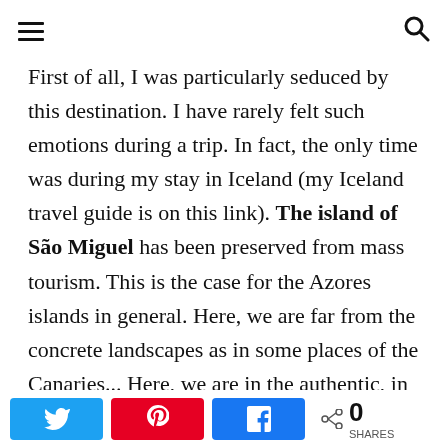≡  🔍
First of all, I was particularly seduced by this destination. I have rarely felt such emotions during a trip. In fact, the only time was during my stay in Iceland (my Iceland travel guide is on this link). The island of São Miguel has been preserved from mass tourism. This is the case for the Azores islands in general. Here, we are far from the concrete landscapes as in some places of the Canaries... Here, we are in the authentic, in the heart of a luxuriant nature.
[Figure (infographic): Social share bar with Twitter (blue), Pinterest (red), and Facebook (blue) buttons, plus a share count showing 0 SHARES]